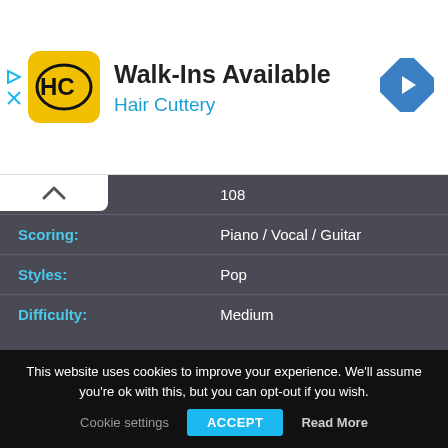[Figure (other): Hair Cuttery advertisement banner with HC logo, 'Walk-Ins Available' headline, 'Hair Cuttery' subtext in blue, and a blue diamond navigation arrow icon on the right.]
| Metronome: | 108 |
| Scoring: | Piano / Vocal / Guitar |
| Styles: | Pop |
| Difficulty: | Medium |
This website uses cookies to improve your experience. We'll assume you're ok with this, but you can opt-out if you wish.
Cookie settings   ACCEPT   Read More